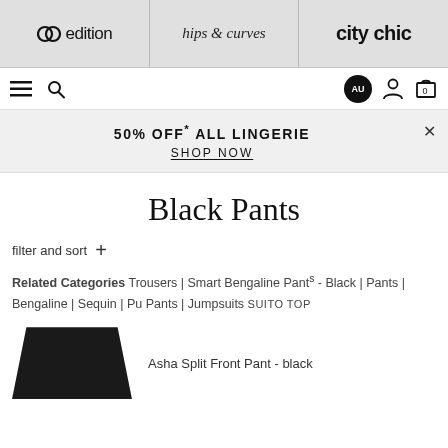coedition | hips & curves | city chic
Navigation bar with menu, search, AU region, account, and cart icons
50% OFF* ALL LINGERIE
SHOP NOW
Black Pants
filter and sort +
Related Categories Trousers | Smart Bengaline Pants - Black | Pants | Bengaline | Sequin | Pu Pants | Jumpsuits | Suito Top
Asha Split Front Pant - black